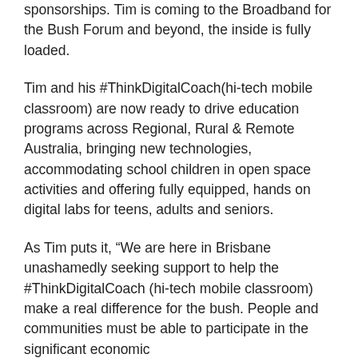sponsorships. Tim is coming to the Broadband for the Bush Forum and beyond, the inside is fully loaded.
Tim and his #ThinkDigitalCoach(hi-tech mobile classroom) are now ready to drive education programs across Regional, Rural & Remote Australia, bringing new technologies, accommodating school children in open space activities and offering fully equipped, hands on digital labs for teens, adults and seniors.
As Tim puts it, “We are here in Brisbane unashamedly seeking support to help the #ThinkDigitalCoach (hi-tech mobile classroom) make a real difference for the bush. People and communities must be able to participate in the significant economic